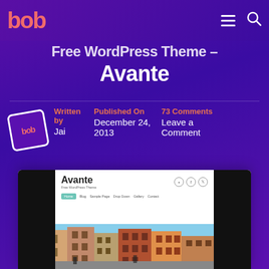bob — navigation header with logo, hamburger menu, and search icon
Free WordPress Theme – Avante
Written by
Jai
Published On
December 24, 2013
73 Comments
Leave a Comment
[Figure (screenshot): Screenshot of the Avante WordPress theme homepage showing the Avante logo, social icons, navigation menu with Home, Blog, Sample Page, Drop Down, Gallery, Contact tabs, and a hero image of a colorful European street scene]